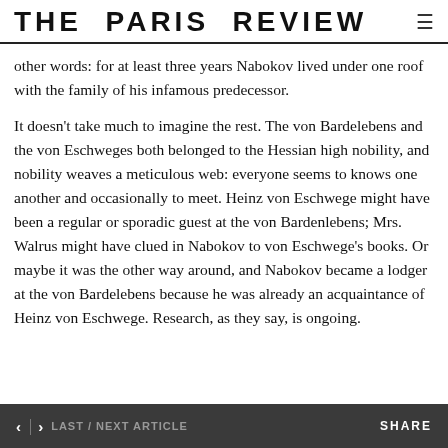THE PARIS REVIEW
other words: for at least three years Nabokov lived under one roof with the family of his infamous predecessor.
It doesn't take much to imagine the rest. The von Bardelebens and the von Eschweges both belonged to the Hessian high nobility, and nobility weaves a meticulous web: everyone seems to knows one another and occasionally to meet. Heinz von Eschwege might have been a regular or sporadic guest at the von Bardenlebens; Mrs. Walrus might have clued in Nabokov to von Eschwege's books. Or maybe it was the other way around, and Nabokov became a lodger at the von Bardelebens because he was already an acquaintance of Heinz von Eschwege. Research, as they say, is ongoing.
< | > LAST / NEXT ARTICLE    SHARE